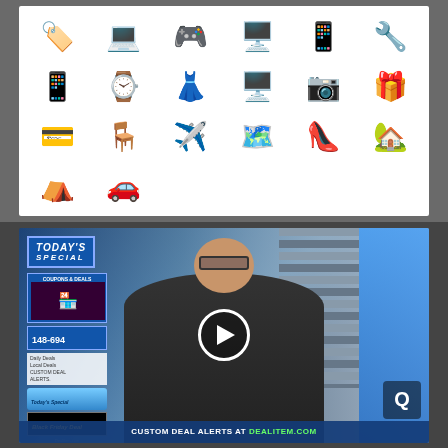[Figure (illustration): Grid of shopping category icons on white background: coupon/card, laptop, gaming console, wide TV monitor, tablet, tool/hardware, smartphones, watch, dress, desktop computer, camera, gift boxes, credit cards, dining table, airplane, GPS navigation devices, shoes/heels, house, gazebo, yellow sports car]
[Figure (screenshot): Video thumbnail showing a man in black suit and glasses with 'TODAY'S SPECIAL' banner, coupons and deals panel on left, play button overlay in center, bottom bar reading 'CUSTOM DEAL ALERTS AT DEALITEM.COM', Q logo at bottom right]